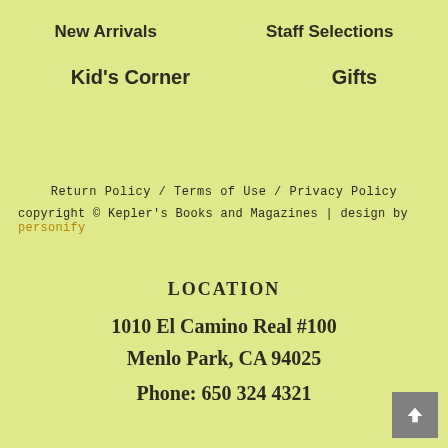New Arrivals
Staff Selections
Kid's Corner
Gifts
Return Policy / Terms of Use / Privacy Policy
copyright © Kepler's Books and Magazines | design by personify
LOCATION
1010 El Camino Real #100
Menlo Park, CA 94025
Phone:  650 324 4321